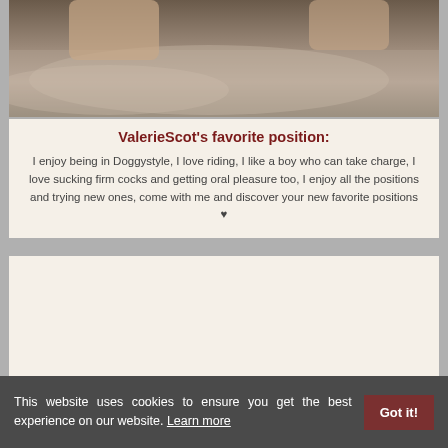[Figure (photo): Partial photo of a person on a bed with grey/beige bedding, only hands/arms visible]
ValerieScot's favorite position:
I enjoy being in Doggystyle, I love riding, I like a boy who can take charge, I love sucking firm cocks and getting oral pleasure too, I enjoy all the positions and trying new ones, come with me and discover your new favorite positions ♥
[Figure (other): Empty cream/off-white card area]
This website uses cookies to ensure you get the best experience on our website. Learn more